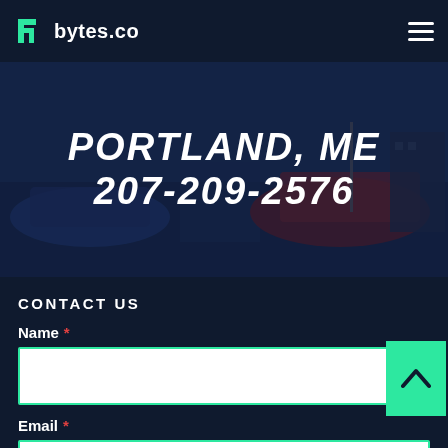bytes.co
[Figure (photo): Harbor scene with boats in Portland, ME, overlaid with dark blue tint. Text overlay reads PORTLAND, ME and 207-209-2576]
PORTLAND, ME
207-209-2576
CONTACT US
Name *
Email *